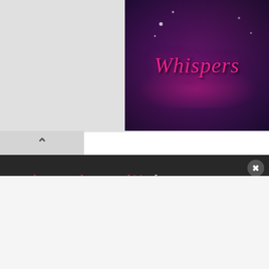[Figure (screenshot): Movie banner showing 'Whispers' title with romantic/fantasy artwork in purple and dark tones]
[Figure (screenshot): Collapsed UI tab with up-arrow chevron on gray background]
.owl-carousel .prev-slide {
  background: url(./assets/images/nav-icon.
  left: -33px;
}

.owl-carousel .next-slide {
  background: url(./assets/images/nav-icon.
  right: -33px;
}